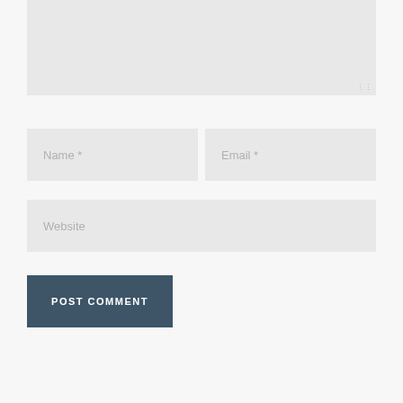[Figure (screenshot): A comment form with a large textarea (partially visible at top), two side-by-side input fields for Name and Email, a full-width Website input field, and a POST COMMENT button.]
Name *
Email *
Website
POST COMMENT